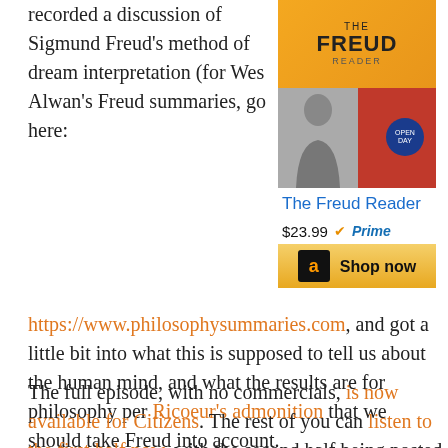recorded a discussion of Sigmund Freud's method of dream interpretation (for Wes Alwan's Freud summaries, go here:
[Figure (illustration): Amazon product sidebar showing The Freud Reader book cover (yellow top with FREUD text, red bottom with figure), title link, $23.99 price with Prime badge, and Shop now button]
https://www.philosophysummaries.com), and got a little bit into what this is supposed to tell us about the human mind, and what the results are for philosophy per Ricoeur's admonition that we should take Freud into account.
The full episode, with no commercials, is now available for Citizens. The rest of you can listen to the first half now, with the second half being posted a week after part one, on Monday, June 1. This is a new release strategy